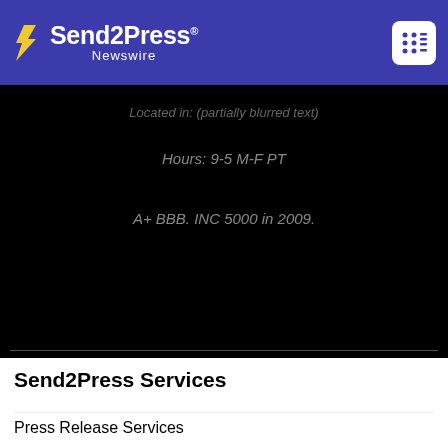Send2Press Newswire
Located in: (partially visible, blurred text)
Hours: 9-5 M-F PT
A+ BBB. INC 5000 in 2009.
Send2Press Services
Press Release Services
Press Release Distribution
Press Release Writing